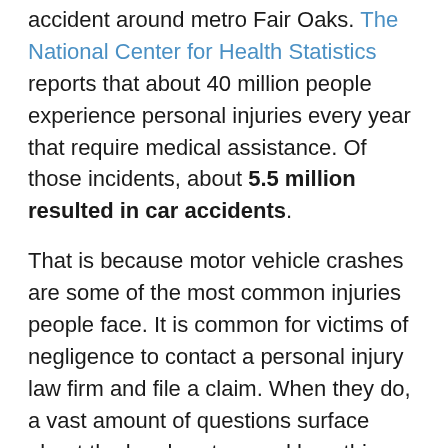accident around metro Fair Oaks. The National Center for Health Statistics reports that about 40 million people experience personal injuries every year that require medical assistance. Of those incidents, about 5.5 million resulted in car accidents.
That is because motor vehicle crashes are some of the most common injuries people face. It is common for victims of negligence to contact a personal injury law firm and file a claim. When they do, a vast amount of questions surface about the legal system and how things work.
No doubt, filing a claim comes with many twists and turns. If you have questions about your accident, look no further. Our auto accident lawyers have the answers to your most frequently asked questions here. Let's get started with learning exactly what you need to do after an auto accident, and to learn more about The Mabra Firm.